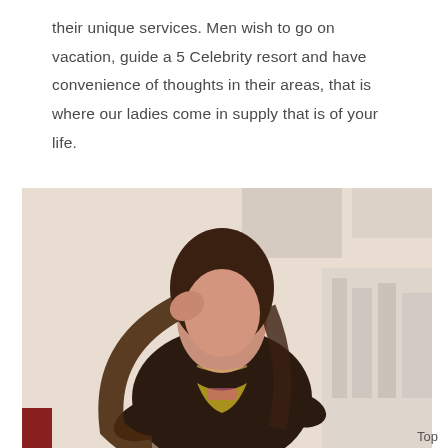their unique services. Men wish to go on vacation, guide a 5 Celebrity resort and have convenience of thoughts in their areas, that is where our ladies come in supply that is of your life.
[Figure (photo): A woman with long dark hair wearing a black lace outfit, seated, posing in front of a light-colored background.]
Top